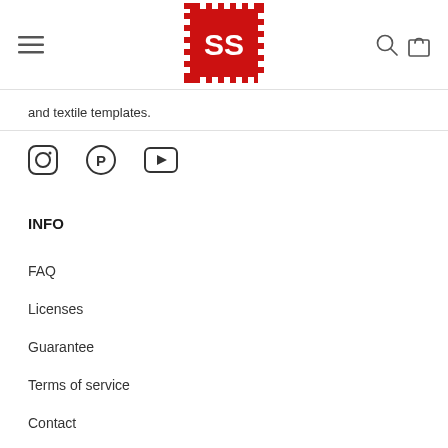[Figure (logo): SS brand logo: red pixelated/jagged square shape with white SS letters in bold sans-serif]
and textile templates.
[Figure (infographic): Row of three social media icons: Instagram (circle with camera outline), Pinterest (P circle), YouTube (play button rectangle)]
INFO
FAQ
Licenses
Guarantee
Terms of service
Contact